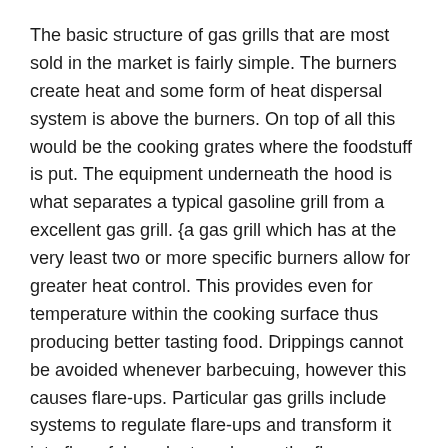The basic structure of gas grills that are most sold in the market is fairly simple. The burners create heat and some form of heat dispersal system is above the burners. On top of all this would be the cooking grates where the foodstuff is put. The equipment underneath the hood is what separates a typical gasoline grill from a excellent gas grill. {a gas grill which has at the very least two or more specific burners allow for greater heat control. This provides even for temperature within the cooking surface thus producing better tasting food. Drippings cannot be avoided whenever barbecuing, however this causes flare-ups. Particular gas grills include systems to regulate flare-ups and transform it into flavorful smoke to enhance the flavor associated with the food.
3. Understanding BTU
Most gas grills offered in the market usage BTUs as the